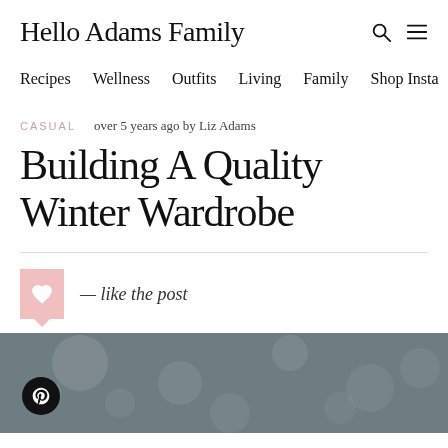Hello Adams Family
Recipes  Wellness  Outfits  Living  Family  Shop Insta
CASUAL   over 5 years ago by Liz Adams
Building A Quality Winter Wardrobe
— like the post
[Figure (photo): Blurred winter outdoor photo with bokeh snow/trees background, Pinterest button overlay in bottom left]